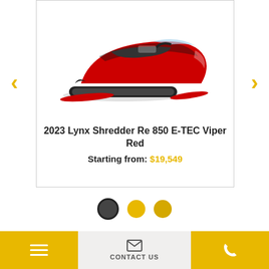[Figure (photo): 2023 Lynx Shredder Re 850 E-TEC Viper Red snowmobile, red and black color, shown on white background]
2023 Lynx Shredder Re 850 E-TEC Viper Red
Starting from: $19,549
[Figure (other): Carousel navigation dots: one dark/selected dot, two yellow dots]
[Figure (photo): Bottom preview strip showing partial next product image]
[Figure (other): Bottom navigation bar with hamburger menu button (yellow), Contact Us button with envelope icon, and phone call button (yellow)]